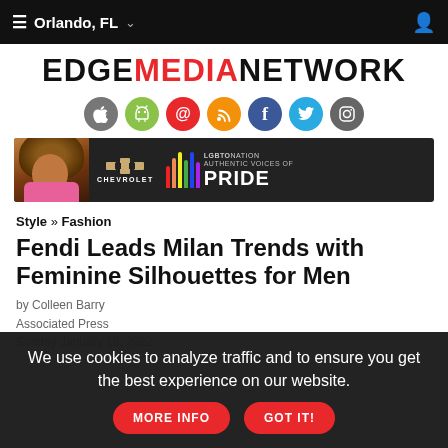Orlando, FL
[Figure (logo): EDGE MEDIA NETWORK logo with MEDIA in red]
[Figure (infographic): Row of social media icon circles: Apple, Android, Email, RSS, Facebook, Twitter, Instagram]
[Figure (photo): Advertisement banner: Chevrolet x LGBTQ Nation Authentic Voices of Pride ad with woman with large hair]
Style » Fashion
Fendi Leads Milan Trends with Feminine Silhouettes for Men
by Colleen Barry
Associated Press
Sunday January 16, 2022
We use cookies to analyze traffic and to ensure you get the best experience on our website.  MORE INFO  GOT IT!